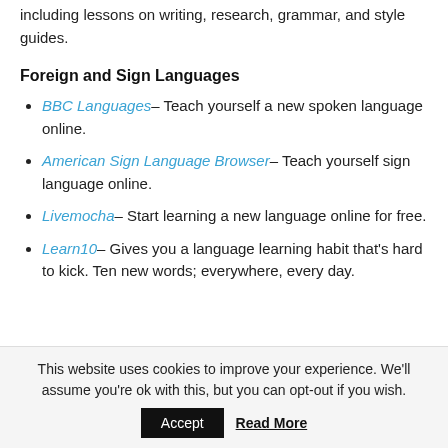including lessons on writing, research, grammar, and style guides.
Foreign and Sign Languages
BBC Languages– Teach yourself a new spoken language online.
American Sign Language Browser– Teach yourself sign language online.
Livemocha– Start learning a new language online for free.
Learn10– Gives you a language learning habit that's hard to kick. Ten new words; everywhere, every day.
This website uses cookies to improve your experience. We'll assume you're ok with this, but you can opt-out if you wish.
Accept   Read More